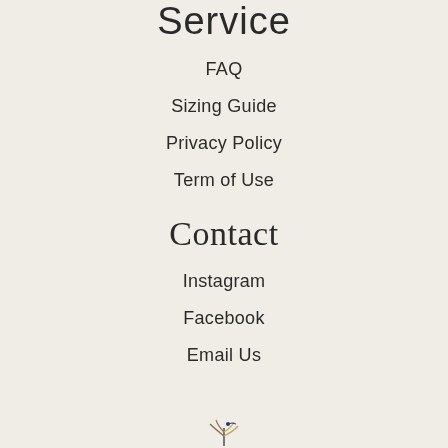Service
FAQ
Sizing Guide
Privacy Policy
Term of Use
Contact
Instagram
Facebook
Email Us
[Figure (logo): Small decorative brand logo at bottom center]